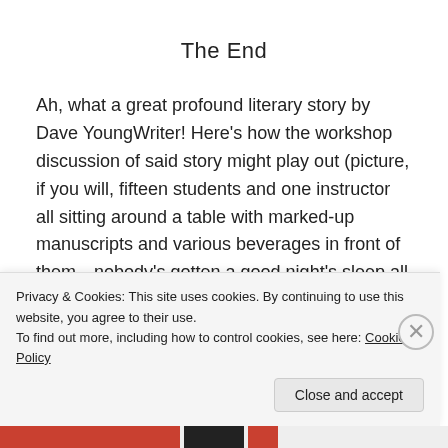The End
Ah, what a great profound literary story by Dave YoungWriter! Here’s how the workshop discussion of said story might play out (picture, if you will, fifteen students and one instructor all sitting around a table with marked-up manuscripts and various beverages in front of them—nobody’s gotten a good night’s sleep all semester) while student Dave YoungWriter, per standard workshop operating procedure, looks on
Privacy & Cookies: This site uses cookies. By continuing to use this website, you agree to their use.
To find out more, including how to control cookies, see here: Cookie Policy
Close and accept